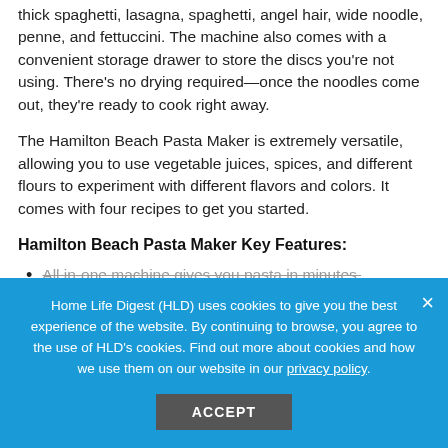thick spaghetti, lasagna, spaghetti, angel hair, wide noodle, penne, and fettuccini. The machine also comes with a convenient storage drawer to store the discs you're not using. There's no drying required—once the noodles come out, they're ready to cook right away.
The Hamilton Beach Pasta Maker is extremely versatile, allowing you to use vegetable juices, spices, and different flours to experiment with different flavors and colors. It comes with four recipes to get you started.
Hamilton Beach Pasta Maker Key Features:
All in-one machine gives you pasta in minutes.
Home Life Digest (HLD) uses cookies to give you the best experience of the website. By continuing to browse, you agree to the use of HLD's cookies. Find out more about cookies and how we use them on our website in our privacy policy.
ACCEPT